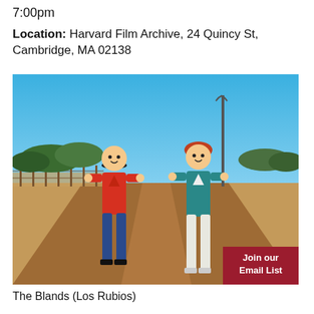7:00pm
Location: Harvard Film Archive, 24 Quincy St, Cambridge, MA 02138
[Figure (photo): Two Playmobil toy figures standing on a dirt road in a rural landscape under a clear blue sky. The left figure wears a red jacket and black hat; the right wears a teal vest. A utility pole is visible in the background along with trees and flat terrain. A dark red 'Join our Email List' button overlays the bottom-right corner.]
The Blands (Los Rubios)